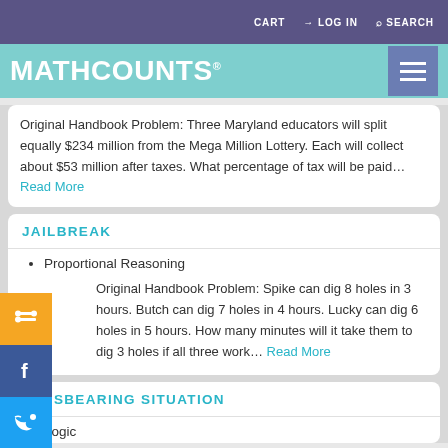CART  LOG IN  SEARCH
MATHCOUNTS®
Original Handbook Problem: Three Maryland educators will split equally $234 million from the Mega Million Lottery. Each will collect about $53 million after taxes. What percentage of tax will be paid... Read More
JAILBREAK
Proportional Reasoning
Original Handbook Problem: Spike can dig 8 holes in 3 hours. Butch can dig 7 holes in 4 hours. Lucky can dig 6 holes in 5 hours. How many minutes will it take them to dig 3 holes if all three work... Read More
A DISBEARING SITUATION
Logic